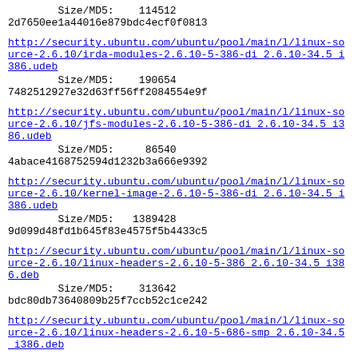Size/MD5:    114512
2d7650ee1a44016e879bdc4ecf0f0813
http://security.ubuntu.com/ubuntu/pool/main/l/linux-source-2.6.10/irda-modules-2.6.10-5-386-di_2.6.10-34.5_i386.udeb
        Size/MD5:    190654
7482512927e32d63ff56ff2084554e9f
http://security.ubuntu.com/ubuntu/pool/main/l/linux-source-2.6.10/jfs-modules-2.6.10-5-386-di_2.6.10-34.5_i386.udeb
        Size/MD5:     86540
4abace4168752594d1232b3a666e9392
http://security.ubuntu.com/ubuntu/pool/main/l/linux-source-2.6.10/kernel-image-2.6.10-5-386-di_2.6.10-34.5_i386.udeb
        Size/MD5:   1389428
9d099d48fd1b645f83e4575f5b4433c5
http://security.ubuntu.com/ubuntu/pool/main/l/linux-source-2.6.10/linux-headers-2.6.10-5-386_2.6.10-34.5_i386.deb
        Size/MD5:    313642
bdc80db73640809b25f7ccb52c1ce242
http://security.ubuntu.com/ubuntu/pool/main/l/linux-source-2.6.10/linux-headers-2.6.10-5-686-smp_2.6.10-34.5_i386.deb